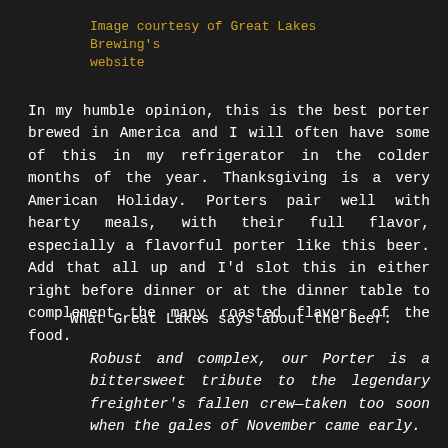Image courtesy of Great Lakes Brewing's website
In my humble opinion, this is the best porter brewed in America and I will often have some of this in my refrigerator in the colder months of the year. Thanksgiving is a very American Holiday. Porters pair well with hearty meals, with their full flavor, especially a flavorful porter like this beer. Add that all up and I'd slot this in either right before dinner or at the dinner table to complement the many roasted flavors of the food.
What Great Lakes says about the beer:
Robust and complex, our Porter is a bittersweet tribute to the legendary freighter's fallen crew—taken too soon when the gales of November came early.